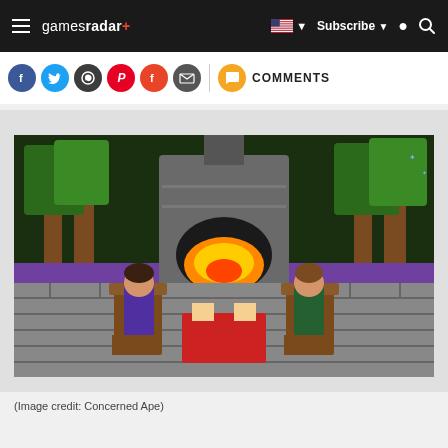gamesradar+ | Subscribe | Search
[Figure (other): Social sharing icons row: Facebook, Twitter, WhatsApp, Pinterest, Flipboard, Email, then a divider and orange Comments button with COMMENTS text]
[Figure (screenshot): Pixel art game screenshot from Stardew Valley showing two characters sitting by a large stone fireplace with flames, surrounded by trees and a purple bench. Image credit: Concerned Ape]
(Image credit: Concerned Ape)